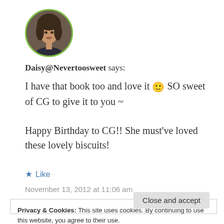[Figure (photo): Circular profile photo of a young woman with brown hair, bordered by a green circle]
Daisy@Nevertoosweet says:
I have that book too and love it 🙂 SO sweet of CG to give it to you ~

Happy Birthday to CG!! She must've loved these lovely biscuits!
★ Like
November 13, 2012 at 11:06 am
Privacy & Cookies: This site uses cookies. By continuing to use this website, you agree to their use.
To find out more, including how to control cookies, see here:
Cookie Policy

Close and accept